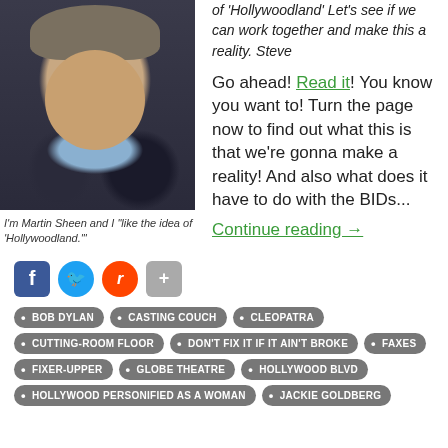[Figure (photo): Portrait photo of Martin Sheen in a dark suit and blue shirt]
I'm Martin Sheen and I "like the idea of 'Hollywoodland.'"
of 'Hollywoodland' Let's see if we can work together and make this a reality. Steve
Go ahead! Read it! You know you want to! Turn the page now to find out what this is that we're gonna make a reality! And also what does it have to do with the BIDs...
Continue reading →
[Figure (other): Social media share buttons: Facebook, Twitter, Reddit, Share]
BOB DYLAN
CASTING COUCH
CLEOPATRA
CUTTING-ROOM FLOOR
DON'T FIX IT IF IT AIN'T BROKE
FAXES
FIXER-UPPER
GLOBE THEATRE
HOLLYWOOD BLVD
HOLLYWOOD PERSONIFIED AS A WOMAN
JACKIE GOLDBERG